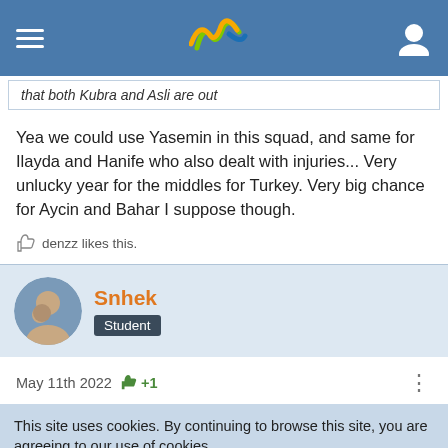Navigation bar with hamburger menu, logo, and user icon
that both Kubra and Asli are out
Yea we could use Yasemin in this squad, and same for Ilayda and Hanife who also dealt with injuries... Very unlucky year for the middles for Turkey. Very big chance for Aycin and Bahar I suppose though.
denzz likes this.
Snhek
Student
May 11th 2022  +1
This site uses cookies. By continuing to browse this site, you are agreeing to our use of cookies.